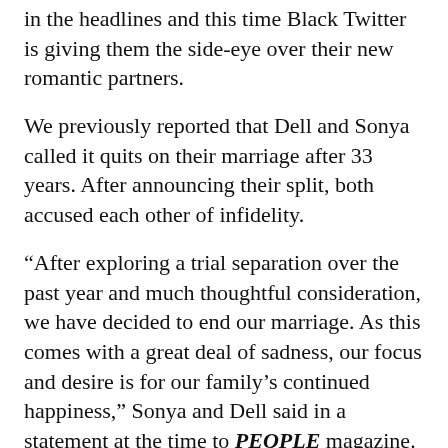in the headlines and this time Black Twitter is giving them the side-eye over their new romantic partners.
We previously reported that Dell and Sonya called it quits on their marriage after 33 years. After announcing their split, both accused each other of infidelity.
“After exploring a trial separation over the past year and much thoughtful consideration, we have decided to end our marriage. As this comes with a great deal of sadness, our focus and desire is for our family’s continued happiness,” Sonya and Dell said in a statement at the time to PEOPLE magazine. “We are so thankful for all the many blessings and successes! We stay